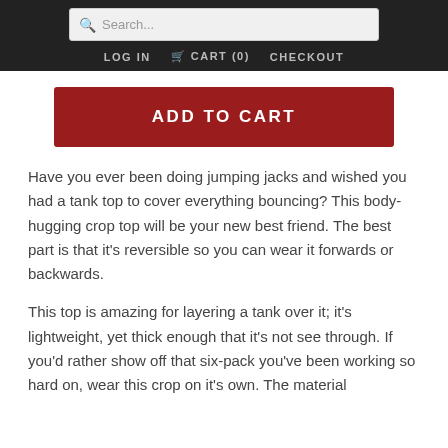Search... LOG IN CART (0) CHECKOUT
ADD TO CART
Have you ever been doing jumping jacks and wished you had a tank top to cover everything bouncing? This body-hugging crop top will be your new best friend. The best part is that it's reversible so you can wear it forwards or backwards.
This top is amazing for layering a tank over it; it's lightweight, yet thick enough that it's not see through. If you'd rather show off that six-pack you've been working so hard on, wear this crop on it's own. The material